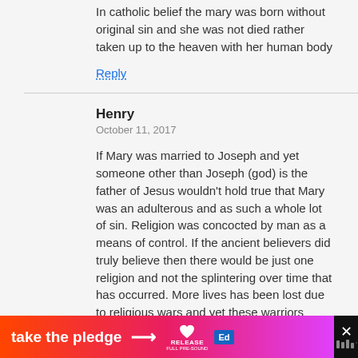In catholic belief the mary was born without original sin and she was not died rather taken up to the heaven with her human body
Reply
Henry
October 11, 2017
If Mary was married to Joseph and yet someone other than Joseph (god) is the father of Jesus wouldn’t hold true that Mary was an adulterous and as such a whole lot of sin. Religion was concocted by man as a means of control. If the ancient believers did truly believe then there would be just one religion and not the splintering over time that has occurred. More lives has been lost due to religious wars and yet these warriors violate the commandment “Thou shall not
[Figure (infographic): Orange-pink-purple gradient ad banner reading 'take the pledge' with arrow, Release logo, Ed logo, and dark close button with X]